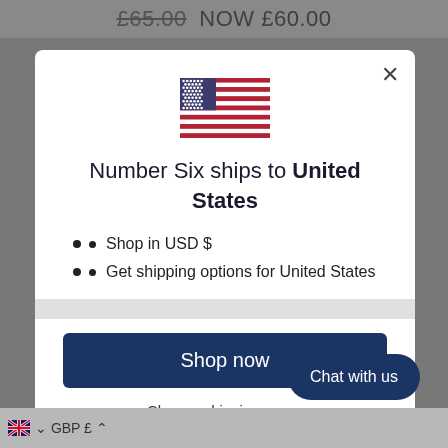£65.00 NOW £60.00
[Figure (illustration): US flag emoji/icon]
Number Six ships to United States
Shop in USD $
Get shipping options for United States
Shop now
Change shipping country
Chat with us
GBP £